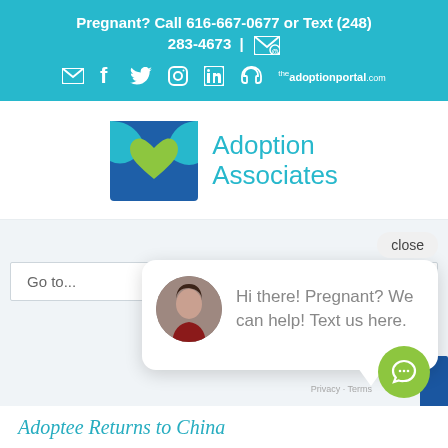Pregnant? Call 616-667-0677 or Text (248) 283-4673 | [email icon]
[Figure (screenshot): Social media and contact icons row: email, facebook, twitter, instagram, linkedin, podcast/headphone, theadoptionportal.com]
[Figure (logo): Adoption Associates logo: blue and teal square with green heart, text Adoption Associates in teal]
Go to...
close
Hi there! Pregnant? We can help! Text us here.
Adoptee Returns to China